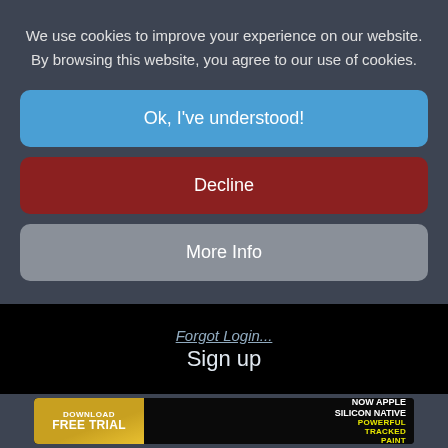We use cookies to improve your experience on our website. By browsing this website, you agree to our use of cookies.
Ok, I've understood!
Decline
More Info
Forgot Login...
Sign up
[Figure (screenshot): Advertisement banner: Download Free Trial button on left with gold background, text on right saying NOW APPLE SILICON NATIVE, POWERFUL TRACKED PAINT in yellow on dark background]